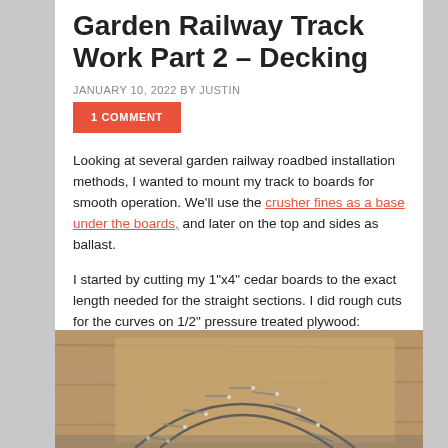Garden Railway Track Work Part 2 – Decking
JANUARY 10, 2022 BY JUSTIN
1 COMMENT
Looking at several garden railway roadbed installation methods, I wanted to mount my track to boards for smooth operation. We'll use the crusher fines as a base under the boards, and later on the top and sides as ballast.
I started by cutting my 1"x4" cedar boards to the exact length needed for the straight sections. I did rough cuts for the curves on 1/2" pressure treated plywood:
[Figure (photo): Photo of curved garden railway track sections laid out on wooden boards/plywood, showing rail pieces arranged in a curved arc pattern with fasteners visible.]